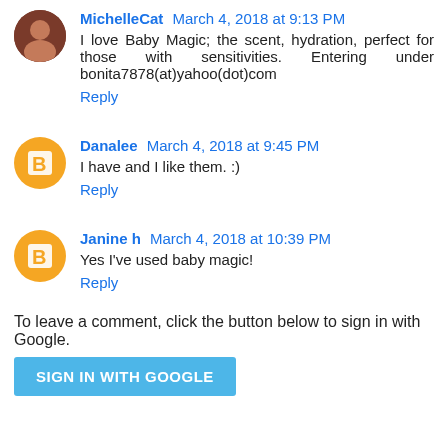MichelleCat March 4, 2018 at 9:13 PM
I love Baby Magic; the scent, hydration, perfect for those with sensitivities. Entering under bonita7878(at)yahoo(dot)com
Reply
Danalee March 4, 2018 at 9:45 PM
I have and I like them. :)
Reply
Janine h March 4, 2018 at 10:39 PM
Yes I've used baby magic!
Reply
To leave a comment, click the button below to sign in with Google.
SIGN IN WITH GOOGLE